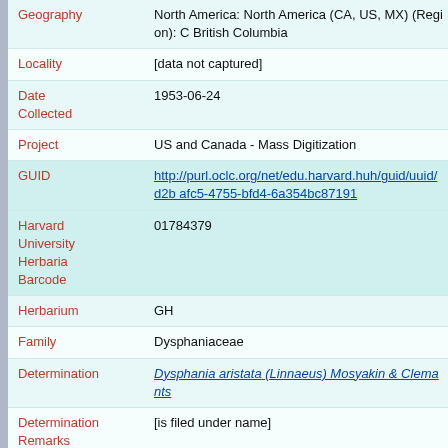| Field | Value |
| --- | --- |
| Geography | North America: North America (CA, US, MX) (Region): C British Columbia |
| Locality | [data not captured] |
| Date Collected | 1953-06-24 |
| Project | US and Canada - Mass Digitization |
| GUID | http://purl.oclc.org/net/edu.harvard.huh/guid/uuid/d2b afc5-4755-bfd4-6a354bc87191 |
| Harvard University Herbaria Barcode | 01784379 |
| Herbarium | GH |
| Family | Dysphaniaceae |
| Determination | Dysphania aristata (Linnaeus) Mosyakin & Clemants |
| Determination Remarks | [is filed under name] |
| Family | Dysphaniaceae |
| Determination | Dysphania botrys (Linnaeus) Mosyakin & Clemants |
| Determination Remarks | [0] [is Current name] |
| Sex | not determined |